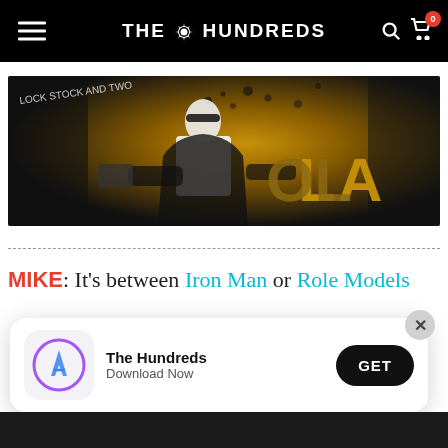THE HUNDREDS
[Figure (photo): Movie-style graphic artwork showing a stylized person with sunglasses on a dramatic golden/dark background with text 'Lock Stock and Two...' and large letters 'OLLA' (or similar)]
MIKE: It's between Iron Man or Role Models
[Figure (screenshot): App download popup banner for 'The Hundreds' app with App Store icon, 'The Hundreds', 'Download Now', and GET button]